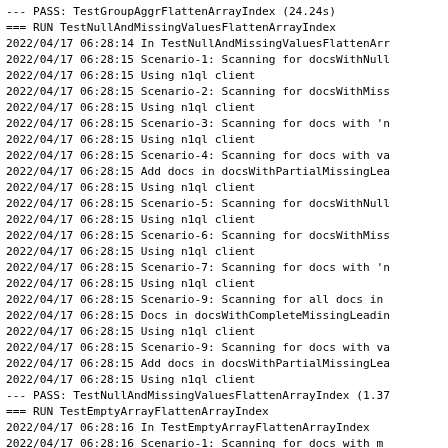--- PASS: TestGroupAggrFlattenArrayIndex (24.24s)
=== RUN   TestNullAndMissingValuesFlattenArrayIndex
2022/04/17 06:28:14 In TestNullAndMissingValuesFlattenArr
2022/04/17 06:28:15 Scenario-1: Scanning for docsWithNull
2022/04/17 06:28:15 Using n1ql client
2022/04/17 06:28:15 Scenario-2: Scanning for docsWithMiss
2022/04/17 06:28:15 Using n1ql client
2022/04/17 06:28:15 Scenario-3: Scanning for docs with 'n
2022/04/17 06:28:15 Using n1ql client
2022/04/17 06:28:15 Scenario-4: Scanning for docs with va
2022/04/17 06:28:15 Add docs in docsWithPartialMissingLea
2022/04/17 06:28:15 Using n1ql client
2022/04/17 06:28:15 Scenario-5: Scanning for docsWithNull
2022/04/17 06:28:15 Using n1ql client
2022/04/17 06:28:15 Scenario-6: Scanning for docsWithMiss
2022/04/17 06:28:15 Using n1ql client
2022/04/17 06:28:15 Scenario-7: Scanning for docs with 'n
2022/04/17 06:28:15 Using n1ql client
2022/04/17 06:28:15 Scenario-9: Scanning for all docs in
2022/04/17 06:28:15 Docs in docsWithCompleteMissingLeadin
2022/04/17 06:28:15 Using n1ql client
2022/04/17 06:28:15 Scenario-9: Scanning for docs with va
2022/04/17 06:28:15 Add docs in docsWithPartialMissingLea
2022/04/17 06:28:15 Using n1ql client
--- PASS: TestNullAndMissingValuesFlattenArrayIndex (1.37
=== RUN   TestEmptyArrayFlattenArrayIndex
2022/04/17 06:28:16 In TestEmptyArrayFlattenArrayIndex
2022/04/17 06:28:16 Scenario-1: Scanning for docs with m
2022/04/17 06:28:16 The docs in `docsWithEmptyArrayEntry
2022/04/17 06:28:16 Using n1ql client